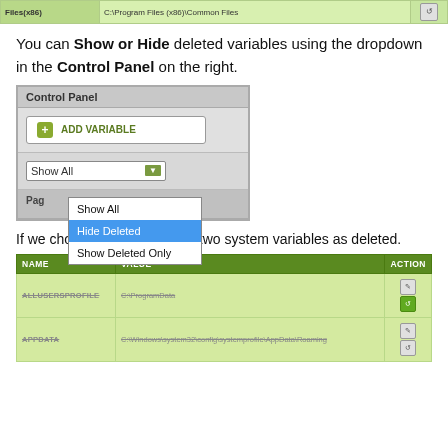[Figure (screenshot): Top portion of a table with NAME, VALUE, ACTION columns. A row showing 'Files(x86)' in the NAME column and 'C:\Program Files (x86)\Common Files' in the VALUE column, with a refresh icon in the ACTION column. Background is light green.]
You can Show or Hide deleted variables using the dropdown in the Control Panel on the right.
[Figure (screenshot): A Control Panel UI widget showing: a header 'Control Panel', an 'ADD VARIABLE' button with a green plus icon, a dropdown currently showing 'Show All' with a green arrow button, and an open dropdown menu with options: 'Show All', 'Hide Deleted' (highlighted in blue), and 'Show Deleted Only'. Below the dropdown section is a 'Pag...' (page) section in gray.]
If we choose to Mark the first two system variables as deleted.
| NAME | VALUE | ACTION |
| --- | --- | --- |
| ALLUSERSPROFILE | C:\ProgramData | icons |
| APPDATA | C:\Windows\system32\config\systemprofile\AppData\Roaming | icons |